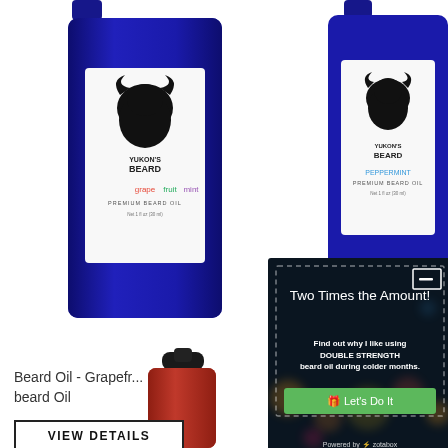[Figure (photo): Two blue dropper bottles of Yukon's Beard premium beard oil - left bottle labeled Grapefruit scented, right bottle labeled Peppermint scented, both with white labels featuring a bearded man logo]
Beard Oil - Grapefri... beard Oil
VIEW DETAILS
[Figure (infographic): Popup modal overlay with dark bokeh background. Title: 'Two Times the Amount!' Body text: 'Find out why I like using DOUBLE STRENGTH beard oil during colder months.' Green call-to-action button with gift icon: 'Let's Do It'. Footer: 'Powered by zotabox']
[Figure (photo): Two small dropper bottles at bottom of page - left bottle is red/dark, right bottle is blue/dark]